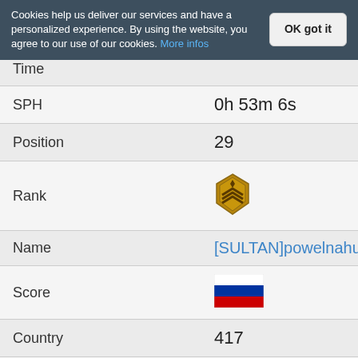Cookies help us deliver our services and have a personalized experience. By using the website, you agree to our use of our cookies. More infos
| Field | Value |
| --- | --- |
| Time |  |
| SPH | 0h 53m 6s |
| Position | 29 |
| Rank | [rank badge icon] |
| Name | [SULTAN]powelnahui |
| Score | [Russia flag] |
| Country | 417 |
| KD Ratio | 2 |
| Time | 4 |
| SPH | 3h 9m 6s |